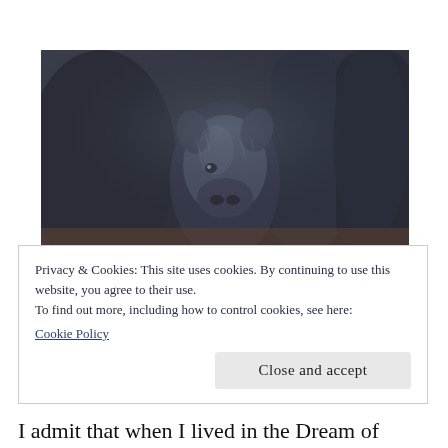[Figure (photo): Close-up photo of dark/black pigs crowded together, with a young piglet visible in the center foreground looking at the camera.]
Privacy & Cookies: This site uses cookies. By continuing to use this website, you agree to their use.
To find out more, including how to control cookies, see here:
Cookie Policy
Close and accept
I admit that when I lived in the Dream of